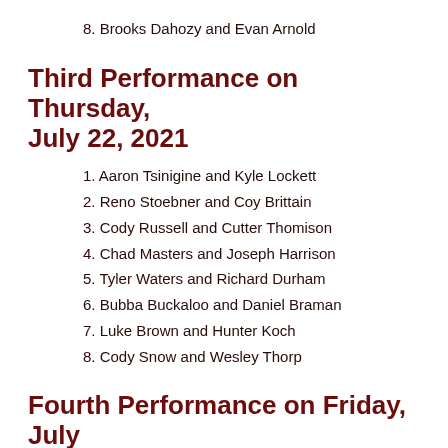8. Brooks Dahozy and Evan Arnold
Third Performance on Thursday, July 22, 2021
1. Aaron Tsinigine and Kyle Lockett
2. Reno Stoebner and Coy Brittain
3. Cody Russell and Cutter Thomison
4. Chad Masters and Joseph Harrison
5. Tyler Waters and Richard Durham
6. Bubba Buckaloo and Daniel Braman
7. Luke Brown and Hunter Koch
8. Cody Snow and Wesley Thorp
Fourth Performance on Friday, July 23, 2021